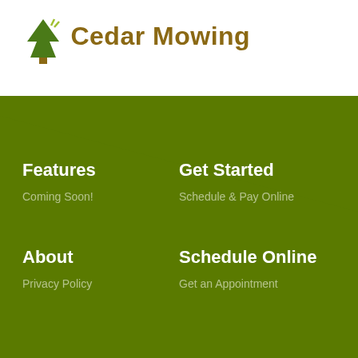[Figure (logo): Cedar Mowing logo with green pine tree icon and brown/gold text]
Features
Coming Soon!
Get Started
Schedule & Pay Online
About
Privacy Policy
Schedule Online
Get an Appointment